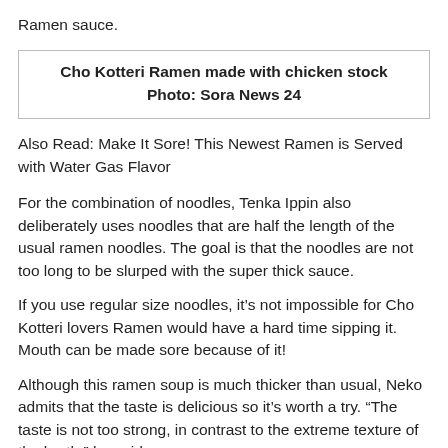Ramen sauce.
Cho Kotteri Ramen made with chicken stock Photo: Sora News 24
Also Read: Make It Sore! This Newest Ramen is Served with Water Gas Flavor
For the combination of noodles, Tenka Ippin also deliberately uses noodles that are half the length of the usual ramen noodles. The goal is that the noodles are not too long to be slurped with the super thick sauce.
If you use regular size noodles, it’s not impossible for Cho Kotteri lovers Ramen would have a hard time sipping it. Mouth can be made sore because of it!
Although this ramen soup is much thicker than usual, Neko admits that the taste is delicious so it’s worth a try. “The taste is not too strong, in contrast to the extreme texture of the broth,” he said.